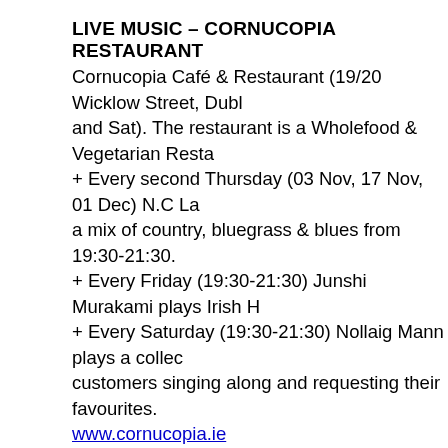LIVE MUSIC – CORNUCOPIA RESTAURANT
Cornucopia Café & Restaurant (19/20 Wicklow Street, Dubl and Sat). The restaurant is a Wholefood & Vegetarian Resta + Every second Thursday (03 Nov, 17 Nov, 01 Dec) N.C La a mix of country, bluegrass & blues from 19:30-21:30. + Every Friday (19:30-21:30) Junshi Murakami plays Irish H + Every Saturday (19:30-21:30) Nollaig Mann plays a collec customers singing along and requesting their favourites. www.cornucopia.ie
RURAL BUILDING CONSERVATION IN SICILY
Fri 25 Nov: 19:15 – The Irish Architectural Archive, 45 Merri Architect Vincenzo Anello will talk about "Rural Building Con experiences as a rural fabric conservationist, illustrating son philosophies of intervention used. He will also talk about his cultural resources for the economic and sustainable prospe Admission is free and all are welcome. The talk will be follo www.iicdublino.esteri.it/IIC_Dublino/webform/SchedaEvento
JAZZ MUSIC – BIANCONI'S BISTRO & RESTAURANT
Fri 25 Nov: Bianconi's Bistro, 232 Merrion Rd, Dublin 4